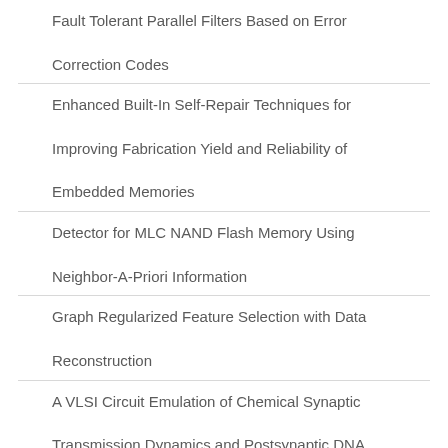Fault Tolerant Parallel Filters Based on Error Correction Codes
Enhanced Built-In Self-Repair Techniques for Improving Fabrication Yield and Reliability of Embedded Memories
Detector for MLC NAND Flash Memory Using Neighbor-A-Priori Information
Graph Regularized Feature Selection with Data Reconstruction
A VLSI Circuit Emulation of Chemical Synaptic Transmission Dynamics and Postsynaptic DNA